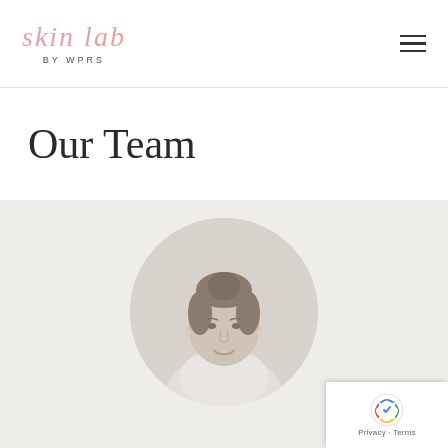skin lab BY WPRS
Our Team
[Figure (photo): Circular portrait photo of a woman with dark hair in a bun, wearing a white coat, smiling, shown in a desaturated/faded style on a light beige background.]
Privacy · Terms